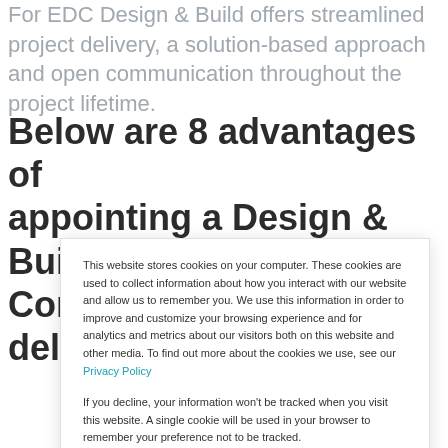For EDC Design & Build offers streamlined project delivery, a solution-based approach and open communication throughout the project lifetime.
Below are 8 advantages of appointing a Design & Build Consultancy for project delivery:
This website stores cookies on your computer. These cookies are used to collect information about how you interact with our website and allow us to remember you. We use this information in order to improve and customize your browsing experience and for analytics and metrics about our visitors both on this website and other media. To find out more about the cookies we use, see our Privacy Policy

If you decline, your information won't be tracked when you visit this website. A single cookie will be used in your browser to remember your preference not to be tracked.
Cookies settings
Accept All
Decline All